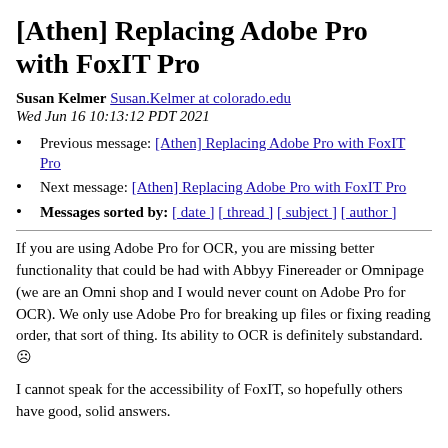[Athen] Replacing Adobe Pro with FoxIT Pro
Susan Kelmer Susan.Kelmer at colorado.edu
Wed Jun 16 10:13:12 PDT 2021
Previous message: [Athen] Replacing Adobe Pro with FoxIT Pro
Next message: [Athen] Replacing Adobe Pro with FoxIT Pro
Messages sorted by: [ date ] [ thread ] [ subject ] [ author ]
If you are using Adobe Pro for OCR, you are missing better functionality that could be had with Abbyy Finereader or Omnipage (we are an Omni shop and I would never count on Adobe Pro for OCR). We only use Adobe Pro for breaking up files or fixing reading order, that sort of thing. Its ability to OCR is definitely substandard. ☹
I cannot speak for the accessibility of FoxIT, so hopefully others have good, solid answers.